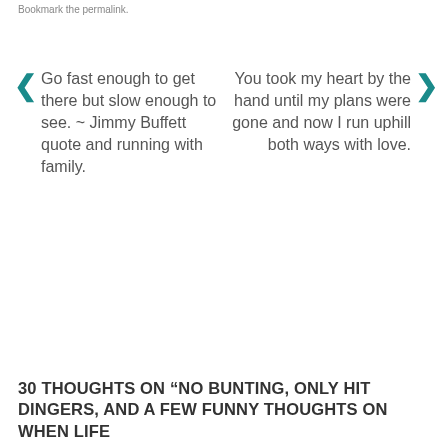Bookmark the permalink.
Go fast enough to get there but slow enough to see. ~ Jimmy Buffett quote and running with family.
You took my heart by the hand until my plans were gone and now I run uphill both ways with love.
30 THOUGHTS ON “NO BUNTING, ONLY HIT DINGERS, AND A FEW FUNNY THOUGHTS ON WHEN LIFE